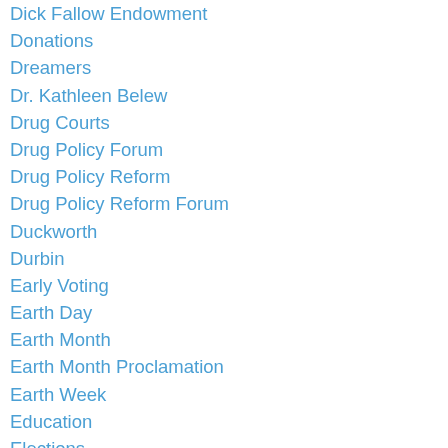Dick Fallow Endowment
Donations
Dreamers
Dr. Kathleen Belew
Drug Courts
Drug Policy Forum
Drug Policy Reform
Drug Policy Reform Forum
Duckworth
Durbin
Early Voting
Earth Day
Earth Month
Earth Month Proclamation
Earth Week
Education
Elections
Environ
Environment
Environmental Forum
Environmental Voter